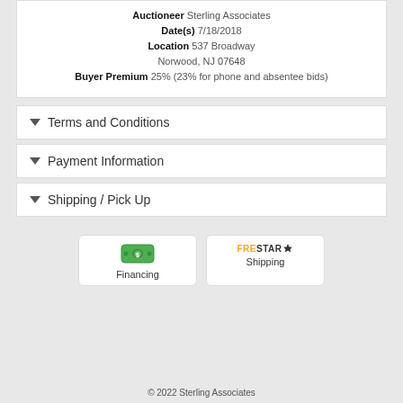Auctioneer Sterling Associates
Date(s) 7/18/2018
Location 537 Broadway Norwood, NJ 07648
Buyer Premium 25% (23% for phone and absentee bids)
Terms and Conditions
Payment Information
Shipping / Pick Up
[Figure (logo): Green money icon for Financing button]
Financing
[Figure (logo): FreeStar logo for Shipping button]
Shipping
© 2022 Sterling Associates